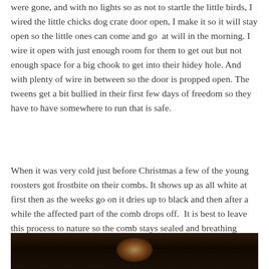were gone, and with no lights so as not to startle the little birds, I wired the little chicks dog crate door open, I make it so it will stay open so the little ones can come and go at will in the morning. I wire it open with just enough room for them to get out but not enough space for a big chook to get into their hidey hole. And with plenty of wire in between so the door is propped open. The tweens get a bit bullied in their first few days of freedom so they have to have somewhere to run that is safe.
When it was very cold just before Christmas a few of the young roosters got frostbite on their combs. It shows up as all white at first then as the weeks go on it dries up to black and then after a while the affected part of the comb drops off. It is best to leave this process to nature so the comb stays sealed and breathing throughout. I have heard talk of trimming or vaseline. But I feel it is better to let it be and avoid the risk of infection and trauma.
[Figure (photo): Bottom portion of a photo showing what appears to be a chicken or bird, dark background with warm brown tones]